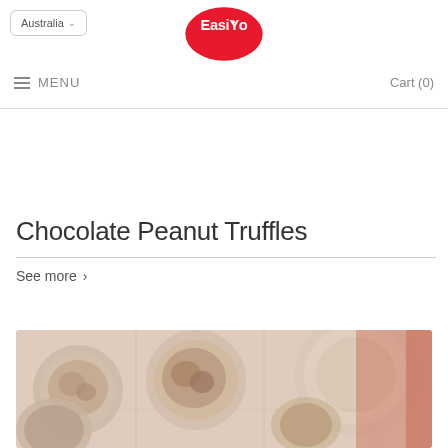Australia ▾   EasiYo   ≡ MENU   Cart (0)
Chocolate Peanut Truffles
See more ›
[Figure (photo): Top-down view of baked goods in small round tins/moulds on a tray, muted warm tones, partially cropped at bottom of page]